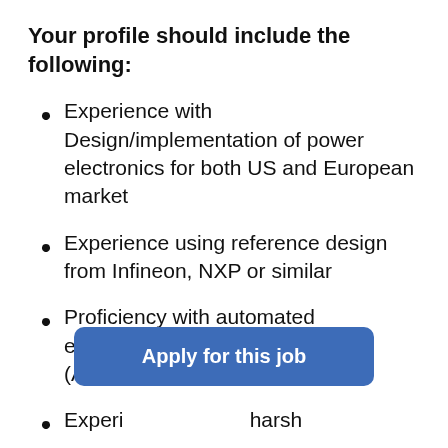Your profile should include the following:
Experience with Design/implementation of power electronics for both US and European market
Experience using reference design from Infineon, NXP or similar
Proficiency with automated electrical/electronic design tools (Altium, OrCAD, PADs, etc.)
Experience in harsh environments (partially visible)
[Figure (other): Blue 'Apply for this job' button overlay]